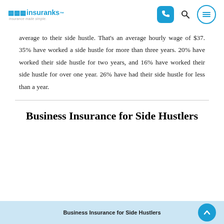insuranks - insurance made simple
average to their side hustle. That's an average hourly wage of $37. 35% have worked a side hustle for more than three years. 20% have worked their side hustle for two years, and 16% have worked their side hustle for over one year. 26% have had their side hustle for less than a year.
Business Insurance for Side Hustlers
Business Insurance for Side Hustlers